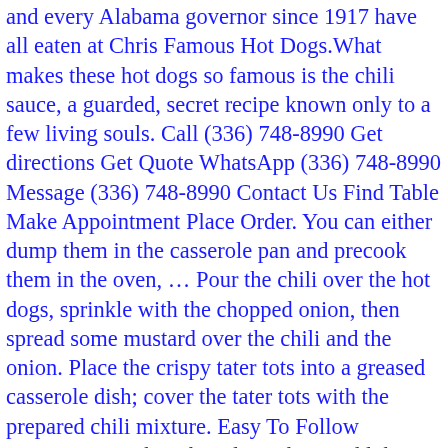and every Alabama governor since 1917 have all eaten at Chris Famous Hot Dogs. What makes these hot dogs so famous is the chili sauce, a guarded, secret recipe known only to a few living souls. Call (336) 748-8990 Get directions Get Quote WhatsApp (336) 748-8990 Message (336) 748-8990 Contact Us Find Table Make Appointment Place Order. You can either dump them in the casserole pan and precook them in the oven, … Pour the chili over the hot dogs, sprinkle with the chopped onion, then spread some mustard over the chili and the onion. Place the crispy tater tots into a greased casserole dish; cover the tater tots with the prepared chili mixture. Easy To Follow Instructions. When the oil gets hazy, add the onion and garlic and cook, stirring, until it is soft and translucent, about 5 … Transfer mixture to prepared pan. COVID update: Hillbilly Hot Dogs has updated their hours, takeout & delivery options. Once melted, add ground beef and cook until no pink is left. Add the sliced hot dogs and cook for another 1 to 2 minutes until brown. You'll want 2 15-ounce cans which might be just beneath four cups of homemade chili. Layer the tater tots on next. Slow Cooker Chili Tater Tot Hot Dog Casserole Friends, this might not look like much, but it is SO FREAKING GOOD. Add a little ground beef, chopped onion, garlic, tomato sauce, and minced chipotle peppers in adobo sauce. Top the mixture with an even layer of tater tots. Dogs. Make chili cheese fries or chili cheese tots with hot dog chili… Makes 8 servings. How to Assemble – Slice ten hot dogs into rounds, combine with chili, then spread in a glass baking dish. Next, add in however much chili… Classic All-Beef